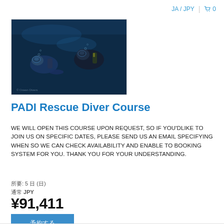JA / JPY  🛒 0
[Figure (photo): Two scuba divers underwater in dark blue water, wearing full dive gear including masks and wetsuits]
PADI Rescue Diver Course
WE WILL OPEN THIS COURSE UPON REQUEST, SO IF YOU'DLIKE TO JOIN US ON SPECIFIC DATES, PLEASE SEND US AN EMAIL SPECIFYING WHEN SO WE CAN CHECK AVAILABILITY AND ENABLE TO BOOKING SYSTEM FOR YOU. THANK YOU FOR YOUR UNDERSTANDING.
所要: 5 日 (日)
通常 JPY ¥91,411
予約する